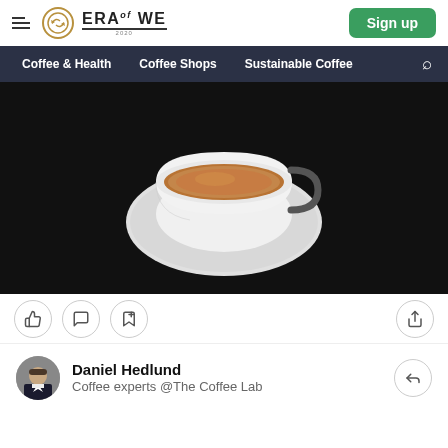ERA of WE — Sign up
Coffee & Health   Coffee Shops   Sustainable Coffee
[Figure (photo): Top-down view of a white espresso cup with brown espresso on a white saucer, centered on a black background]
Like, Comment, Bookmark, Share icons
Daniel Hedlund
Coffee experts @The Coffee Lab